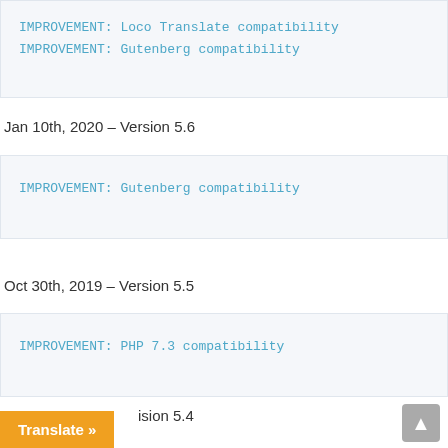IMPROVEMENT: Loco Translate compatibility
IMPROVEMENT: Gutenberg compatibility
Jan 10th, 2020 – Version 5.6
IMPROVEMENT: Gutenberg compatibility
Oct 30th, 2019 – Version 5.5
IMPROVEMENT: PHP 7.3 compatibility
– Version 5.4